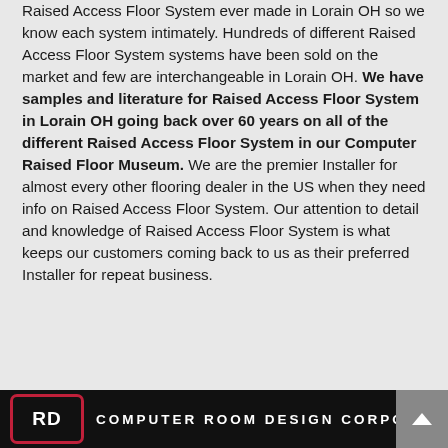Raised Access Floor System ever made in Lorain OH so we know each system intimately. Hundreds of different Raised Access Floor System systems have been sold on the market and few are interchangeable in Lorain OH. We have samples and literature for Raised Access Floor System in Lorain OH going back over 60 years on all of the different Raised Access Floor System in our Computer Raised Floor Museum. We are the premier Installer for almost every other flooring dealer in the US when they need info on Raised Access Floor System. Our attention to detail and knowledge of Raised Access Floor System is what keeps our customers coming back to us as their preferred Installer for repeat business.
[Figure (logo): Computer Room Design Corporation logo — black bar with red-bordered white RD letters in a rounded rectangle, followed by white uppercase spaced text COMPUTER ROOM DESIGN CORPORATION]